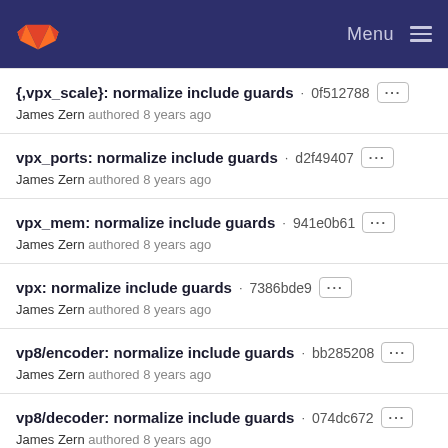GitLab — Menu
{,vpx_scale}: normalize include guards · 0f512788 — James Zern authored 8 years ago
vpx_ports: normalize include guards · d2f49407 — James Zern authored 8 years ago
vpx_mem: normalize include guards · 941e0b61 — James Zern authored 8 years ago
vpx: normalize include guards · 7386bde9 — James Zern authored 8 years ago
vp8/encoder: normalize include guards · bb285208 — James Zern authored 8 years ago
vp8/decoder: normalize include guards · 074dc672 — James Zern authored 8 years ago